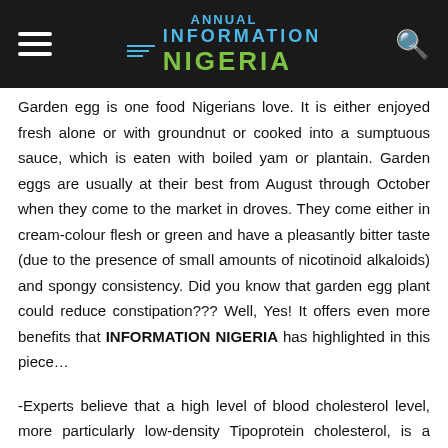Information Nigeria
Garden egg is one food Nigerians love. It is either enjoyed fresh alone or with groundnut or cooked into a sumptuous sauce, which is eaten with boiled yam or plantain. Garden eggs are usually at their best from August through October when they come to the market in droves. They come either in cream-colour flesh or green and have a pleasantly bitter taste (due to the presence of small amounts of nicotinoid alkaloids) and spongy consistency. Did you know that garden egg plant could reduce constipation??? Well, Yes! It offers even more benefits that INFORMATION NIGERIA has highlighted in this piece…
-Experts believe that a high level of blood cholesterol level, more particularly low-density Tipoprotein cholesterol, is a primary risk factor for cardiovascular diseases, such as